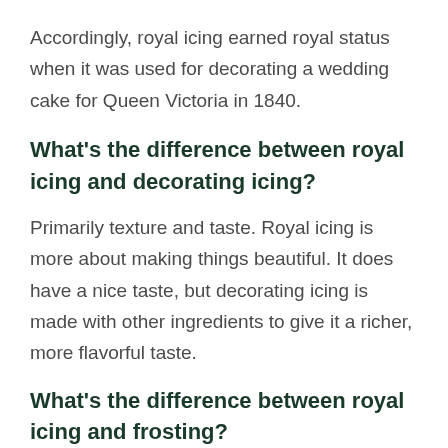Accordingly, royal icing earned royal status when it was used for decorating a wedding cake for Queen Victoria in 1840.
What’s the difference between royal icing and decorating icing?
Primarily texture and taste. Royal icing is more about making things beautiful. It does have a nice taste, but decorating icing is made with other ingredients to give it a richer, more flavorful taste.
What’s the difference between royal icing and frosting?